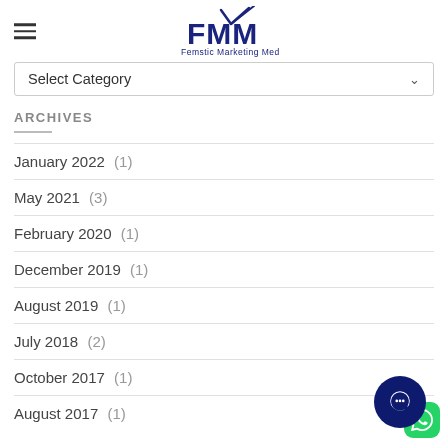Femstic Marketing Media
Select Category
ARCHIVES
January 2022 (1)
May 2021 (3)
February 2020 (1)
December 2019 (1)
August 2019 (1)
July 2018 (2)
October 2017 (1)
August 2017 (1)